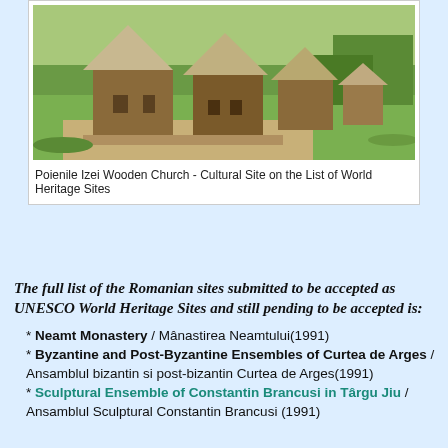[Figure (photo): Photograph of Poienile Izei wooden church and traditional rural buildings with thatched roofs on a hillside with green grass]
Poienile Izei Wooden Church - Cultural Site on the List of World Heritage Sites
The full list of the Romanian sites submitted to be accepted as UNESCO World Heritage Sites and still pending to be accepted is:
* Neamt Monastery / Mânastirea Neamtului(1991)
* Byzantine and Post-Byzantine Ensembles of Curtea de Arges / Ansamblul bizantin si post-bizantin Curtea de Arges(1991)
* Sculptural Ensemble of Constantin Brancusi in Târgu Jiu / Ansamblul Sculptural Constantin Brancusi (1991)